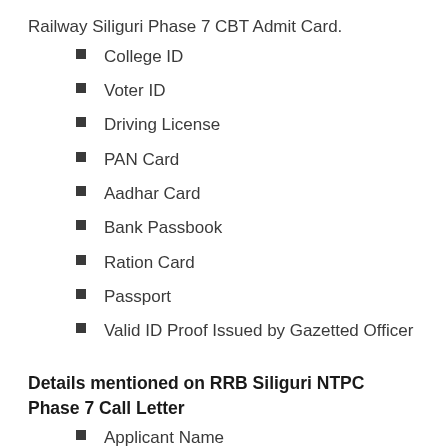Railway Siliguri Phase 7 CBT Admit Card.
College ID
Voter ID
Driving License
PAN Card
Aadhar Card
Bank Passbook
Ration Card
Passport
Valid ID Proof Issued by Gazetted Officer
Details mentioned on RRB Siliguri NTPC Phase 7 Call Letter
Applicant Name
Parents Details